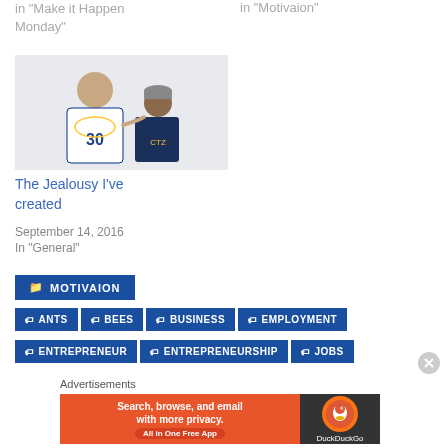in "Make it Happen Monday"
in "Motivaion"
[Figure (photo): Two people posing together, one in a Golden State Warriors #30 jersey]
The Jealousy I've created
September 14, 2016
In "General"
MOTIVAION
ANTS
BEES
BUSINESS
EMPLOYMENT
ENTREPRENEUR
ENTREPRENEURSHIP
JOBS
Advertisements
[Figure (screenshot): DuckDuckGo advertisement banner: Search, browse, and email with more privacy. All in One Free App]